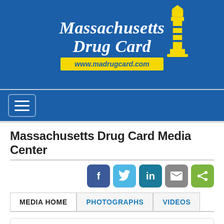[Figure (logo): Massachusetts Drug Card logo with lighthouse illustration on blue background, showing website www.madrugcard.com in yellow bar]
[Figure (screenshot): Navigation bar with hamburger menu button on blue background]
Massachusetts Drug Card Media Center
[Figure (infographic): Social sharing icons: Facebook, Twitter, LinkedIn, Email, Share]
MEDIA HOME | PHOTOGRAPHS | VIDEOS
[Figure (logo): Children's Miracle Network Hospitals logo with gold location pin icon and red text]